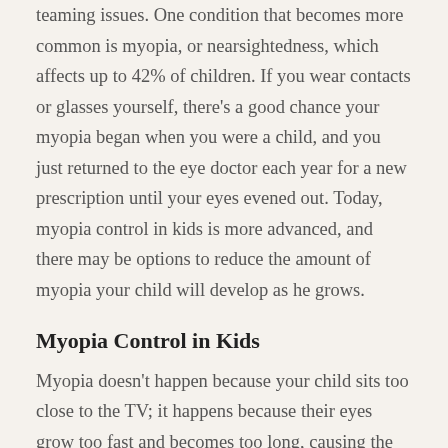teaming issues. One condition that becomes more common is myopia, or nearsightedness, which affects up to 42% of children. If you wear contacts or glasses yourself, there's a good chance your myopia began when you were a child, and you just returned to the eye doctor each year for a new prescription until your eyes evened out. Today, myopia control in kids is more advanced, and there may be options to reduce the amount of myopia your child will develop as he grows.
Myopia Control in Kids
Myopia doesn't happen because your child sits too close to the TV; it happens because their eyes grow too fast and becomes too long, causing the cornea